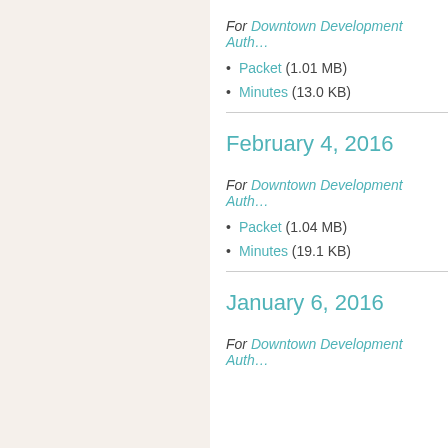For Downtown Development Auth…
Packet (1.01 MB)
Minutes (13.0 KB)
February 4, 2016
For Downtown Development Auth…
Packet (1.04 MB)
Minutes (19.1 KB)
January 6, 2016
For Downtown Development Auth…